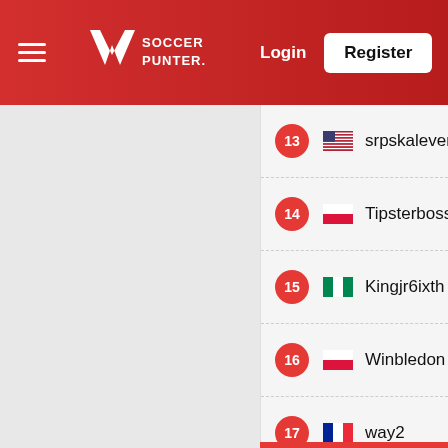[Figure (logo): Soccer Punter logo with hamburger menu, Login and Register buttons on red header]
13 srpskalevenski
14 Tipsterboss
15 Kingjr6ixth
16 Winbledon
17 way2
18 Erwaku
19 Silverleon
20 jaroslavs